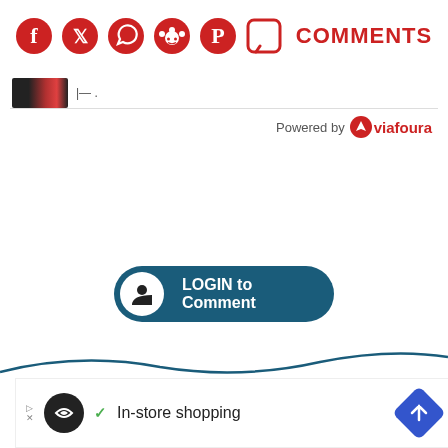[Figure (screenshot): Social media share icons: Facebook, Twitter, WhatsApp, Reddit, Pinterest, Comment bubble, and COMMENTS label in red]
[Figure (screenshot): Small user avatar photo thumbnail with partially visible username text]
Powered by viafoura
[Figure (screenshot): Blue rounded LOGIN to Comment button with user icon]
[Figure (screenshot): Red Replies button, teal bell notification button, close X button, wave decoration, and advertisement bar showing In-store shopping]